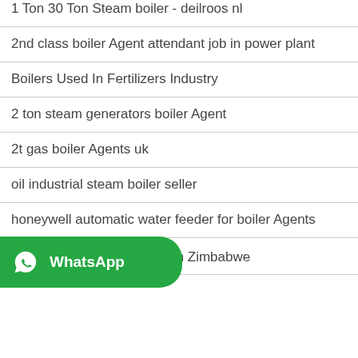1 Ton 30 Ton Steam boiler - deilroos nl
2nd class boiler Agent attendant job in power plant
Boilers Used In Fertilizers Industry
2 ton steam generators boiler Agent
2t gas boiler Agents uk
oil industrial steam boiler seller
honeywell automatic water feeder for boiler Agents
welded boiler Agent oil heat
Bi-drum Boilers Steam Team Zimbabwe